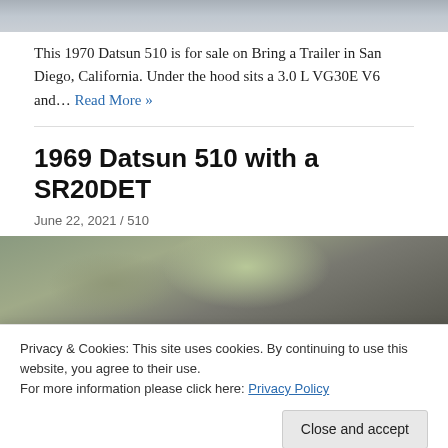[Figure (photo): Top portion of a car photo, mostly sky/road background, cropped]
This 1970 Datsun 510 is for sale on Bring a Trailer in San Diego, California. Under the hood sits a 3.0 L VG30E V6 and… Read More »
1969 Datsun 510 with a SR20DET
June 22, 2021 / 510
[Figure (photo): Photo of a 1969 Datsun 510 car with plants/trees in background]
Privacy & Cookies: This site uses cookies. By continuing to use this website, you agree to their use. For more information please click here: Privacy Policy
[Figure (photo): Bottom strip of car image showing wheels/undercarriage area]